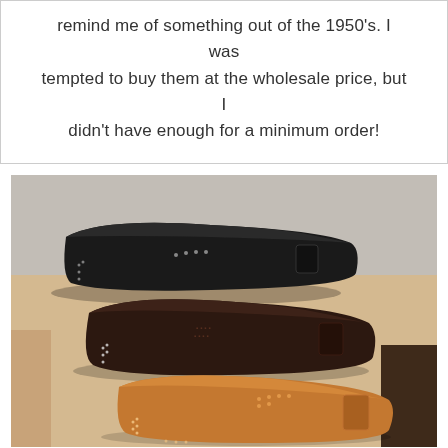remind me of something out of the 1950's. I was tempted to buy them at the wholesale price, but I didn't have enough for a minimum order!
[Figure (photo): Three leather eyeglass/sunglasses cases arranged on a wooden surface: a black case on top, a dark brown case in the middle, and a tan/cognac leather case at the bottom. Each case has a magnetic or snap closure with a small flap.]